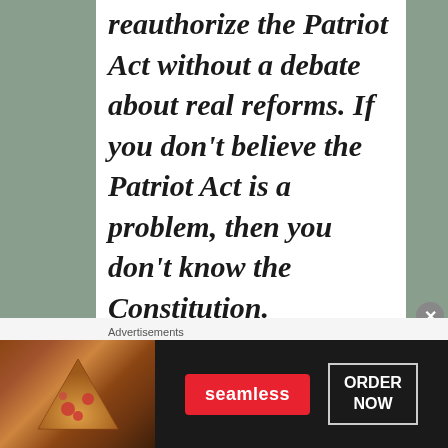reauthorize the Patriot Act without a debate about real reforms. If you don't believe the Patriot Act is a problem, then you don't know the Constitution.
I would venture to say that I do
[Figure (infographic): Advertisement banner: Seamless food delivery service. Shows pizza image on left, Seamless brand name in red button, and ORDER NOW button on right, on dark background.]